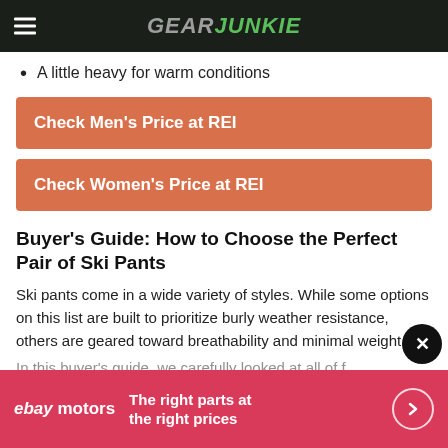GearJunkie
A little heavy for warm conditions
Check Men's Price at REI
Check Women's Price at REI
Buyer's Guide: How to Choose the Perfect Pair of Ski Pants
Ski pants come in a wide variety of styles. While some options on this list are built to prioritize burly weather resistance, others are geared toward breathability and minimal weight.
[Figure (screenshot): eBay Motors advertisement banner at the bottom: pink/red background with eBay Motors logo, text 'The right parts at the right prices', and a circular arrow button. A dark close (X) button overlaps the top-right corner of the ad.]